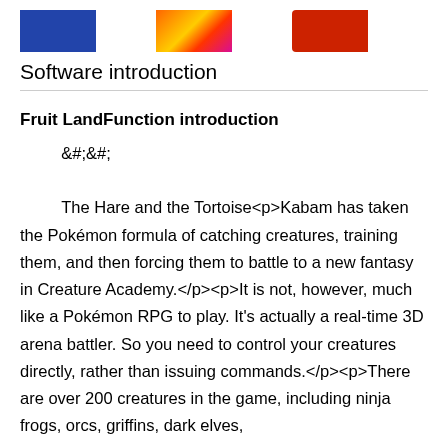[Figure (photo): Three thumbnail images at top: a blue rectangle, a colorful fire/energy image, and a red truck]
Software introduction
Fruit LandFunction introduction
&#;&#;
    The Hare and the Tortoise<p>Kabam has taken the Pokémon formula of catching creatures, training them, and then forcing them to battle to a new fantasy in Creature Academy.</p><p>It is not, however, much like a Pokémon RPG to play. It's actually a real-time 3D arena battler. So you need to control your creatures directly, rather than issuing commands.</p><p>There are over 200 creatures in the game, including ninja frogs, orcs, griffins, dark elves,